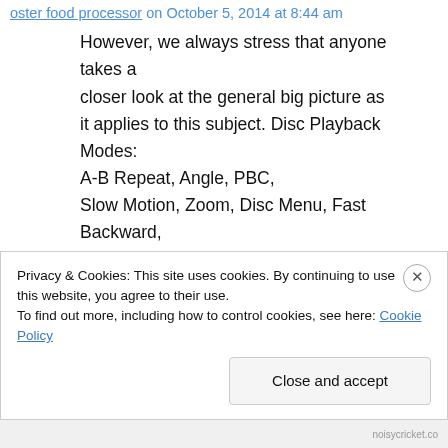oster food processor on October 5, 2014 at 8:44 am
However, we always stress that anyone takes a closer look at the general big picture as it applies to this subject. Disc Playback Modes: A-B Repeat, Angle, PBC, Slow Motion, Zoom, Disc Menu, Fast Backward, Fast Forward, OSD, Parental control, Resume Playback from Stop. Another benefit of having a food processor is that you can serve freshly squeezed fruit juice to your family for breakfast
Privacy & Cookies: This site uses cookies. By continuing to use this website, you agree to their use.
To find out more, including how to control cookies, see here: Cookie Policy
Close and accept